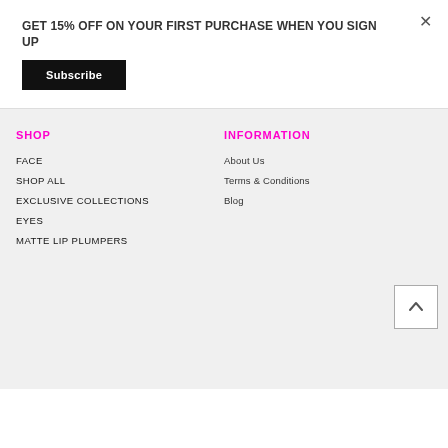GET 15% OFF ON YOUR FIRST PURCHASE WHEN YOU SIGN UP
Subscribe
SHOP
INFORMATION
FACE
SHOP ALL
EXCLUSIVE COLLECTIONS
EYES
MATTE LIP PLUMPERS
About Us
Terms & Conditions
Blog